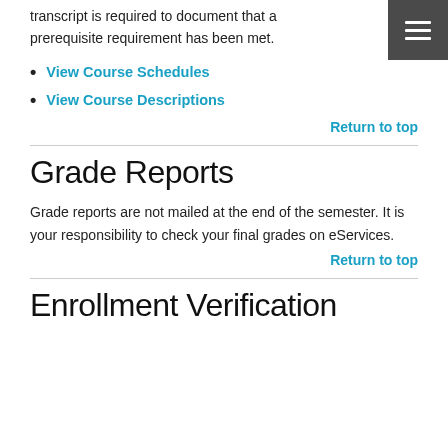transcript is required to document that a prerequisite requirement has been met.
View Course Schedules
View Course Descriptions
Return to top
Grade Reports
Grade reports are not mailed at the end of the semester. It is your responsibility to check your final grades on eServices.
Return to top
Enrollment Verification